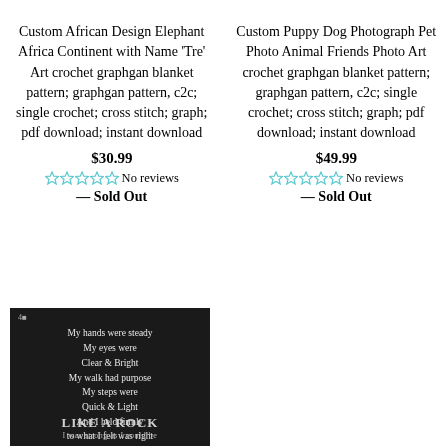Custom African Design Elephant Africa Continent with Name 'Tre' Art crochet graphgan blanket pattern; graphgan pattern, c2c; single crochet; cross stitch; graph; pdf download; instant download
$30.99
☆☆☆☆☆ No reviews
— Sold Out
Custom Puppy Dog Photograph Pet Photo Animal Friends Photo Art crochet graphgan blanket pattern; graphgan pattern, c2c; single crochet; cross stitch; graph; pdf download; instant download
$49.99
☆☆☆☆☆ No reviews
— Sold Out
[Figure (photo): Dark fabric with white text reading: 'My hands were steady My eyes were Clear & Bright My walk had purpose My steps were Quick & Light And I held firmly to what I felt was right Like a rock' and at bottom 'LIKE A ROCK I was strong as I could be']